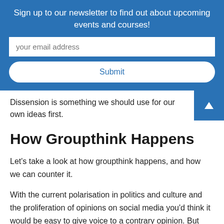Sign up to our newsletter to find out about upcoming events and courses!
your email address
Submit
Dissension is something we should use for our own ideas first.
How Groupthink Happens
Let's take a look at how groupthink happens, and how we can counter it.
With the current polarisation in politics and culture and the proliferation of opinions on social media you'd think it would be easy to give voice to a contrary opinion. But despite